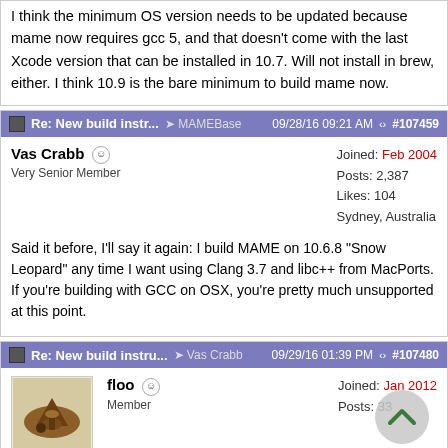I think the minimum OS version needs to be updated because mame now requires gcc 5, and that doesn't come with the last Xcode version that can be installed in 10.7. Will not install in brew, either. I think 10.9 is the bare minimum to build mame now.
Re: New build instr... MAMEBase 09/28/16 09:21 AM #107459
Vas Crabb Very Senior Member | Joined: Feb 2004 Posts: 2,387 Likes: 104 Sydney, Australia
Said it before, I'll say it again: I build MAME on 10.6.8 "Snow Leopard" any time I want using Clang 3.7 and libc++ from MacPorts. If you're building with GCC on OSX, you're pretty much unsupported at this point.
Re: New build instru... Vas Crabb 09/29/16 01:39 PM #107480
floo Member | Joined: Jan 2012 Posts: 33